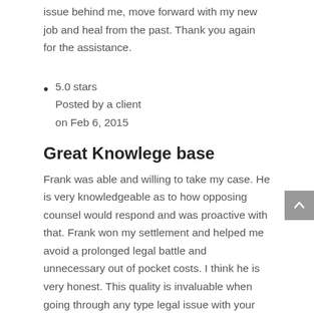issue behind me, move forward with my new job and heal from the past. Thank you again for the assistance.
5.0 stars
Posted by a client
on Feb 6, 2015
Great Knowlege base
Frank was able and willing to take my case. He is very knowledgeable as to how opposing counsel would respond and was proactive with that. Frank won my settlement and helped me avoid a prolonged legal battle and unnecessary out of pocket costs. I think he is very honest. This quality is invaluable when going through any type legal issue with your employer. I give my highest